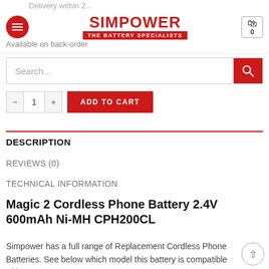SIMPOWER THE BATTERY SPECIALISTS
Available on back-order
Search...
ADD TO CART
DESCRIPTION
REVIEWS (0)
TECHNICAL INFORMATION
Magic 2 Cordless Phone Battery 2.4V 600mAh Ni-MH CPH200CL
Simpower has a full range of Replacement Cordless Phone Batteries. See below which model this battery is compatible with.